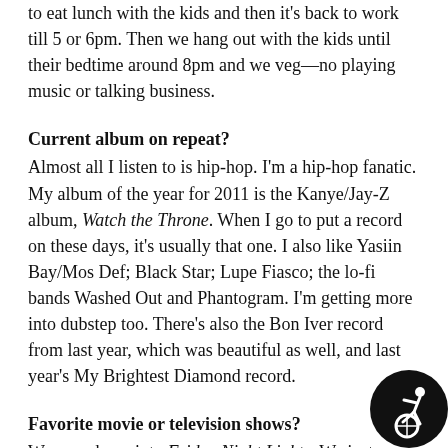to eat lunch with the kids and then it's back to work till 5 or 6pm. Then we hang out with the kids until their bedtime around 8pm and we veg—no playing music or talking business.
Current album on repeat?
Almost all I listen to is hip-hop. I'm a hip-hop fanatic. My album of the year for 2011 is the Kanye/Jay-Z album, Watch the Throne. When I go to put a record on these days, it's usually that one. I also like Yasiin Bay/Mos Def; Black Star; Lupe Fiasco; the lo-fi bands Washed Out and Phantogram. I'm getting more into dubstep too. There's also the Bon Iver record from last year, which was beautiful as well, and last year's My Brightest Diamond record.
Favorite movie or television shows?
We were huge into Friday Night Lights. We just finished the last season of West Wing, which was